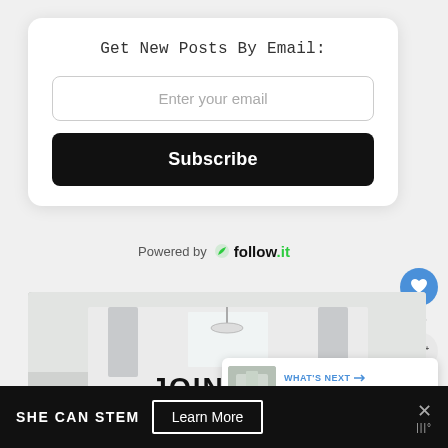Get New Posts By Email:
Enter your email
Subscribe
Powered by follow.it
[Figure (infographic): Heart/like button (blue circle with heart icon) showing 69 likes, and a share button below it]
[Figure (photo): Interior room photo with white walls and curtains, partially showing text JOIN OUR at the bottom]
JOIN OUR
WHAT'S NEXT → How To Style A Unique...
SHE CAN STEM  Learn More